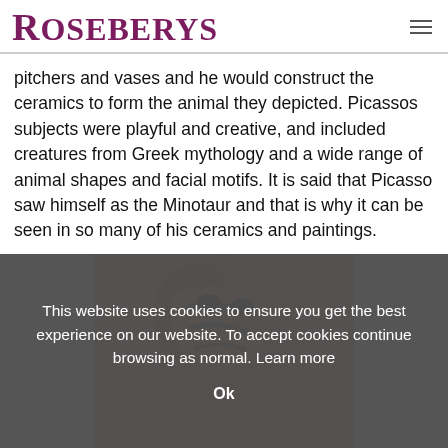Roseberys
pitchers and vases and he would construct the ceramics to form the animal they depicted. Picassos subjects were playful and creative, and included creatures from Greek mythology and a wide range of animal shapes and facial motifs. It is said that Picasso saw himself as the Minotaur and that is why it can be seen in so many of his ceramics and paintings.
[Figure (photo): Cookie consent overlay over a ceramic sculpture photo. The overlay contains text: 'This website uses cookies to ensure you get the best experience on our website. To accept cookies continue browsing as normal. Learn more' and an 'Ok' button. Behind the overlay is a dark brown ceramic animal figure.]